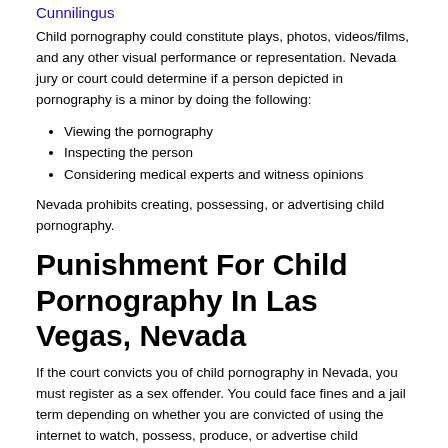Cunnilingus
Child pornography could constitute plays, photos, videos/films, and any other visual performance or representation. Nevada jury or court could determine if a person depicted in pornography is a minor by doing the following:
Viewing the pornography
Inspecting the person
Considering medical experts and witness opinions
Nevada prohibits creating, possessing, or advertising child pornography.
Punishment For Child Pornography In Las Vegas, Nevada
If the court convicts you of child pornography in Nevada, you must register as a sex offender. You could face fines and a jail term depending on whether you are convicted of using the internet to watch, possess, produce, or advertise child pornography. Hire a competent criminal defense attorney. He/she can help you to have